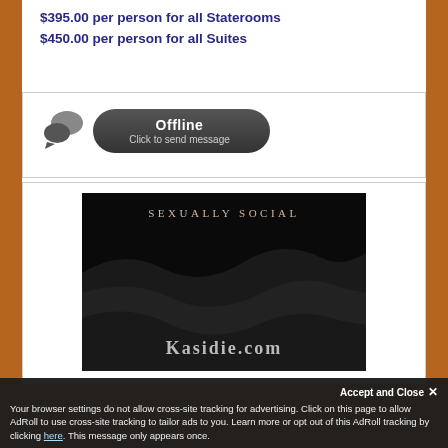$395.00 per person for all Staterooms
$450.00 per person for all Suites
[Figure (screenshot): Offline chat button with speech bubble icons and dark rounded rectangle button showing 'Offline / Click to send message']
[Figure (illustration): Kasidie.com advertisement banner with dark abstract wavy shapes, text 'SEXUALLY SOCIAL' at top and 'KASIDIE.COM' at bottom]
Accept and Close ✕
Your browser settings do not allow cross-site tracking for advertising. Click on this page to allow AdRoll to use cross-site tracking to tailor ads to you. Learn more or opt out of this AdRoll tracking by clicking here. This message only appears once.